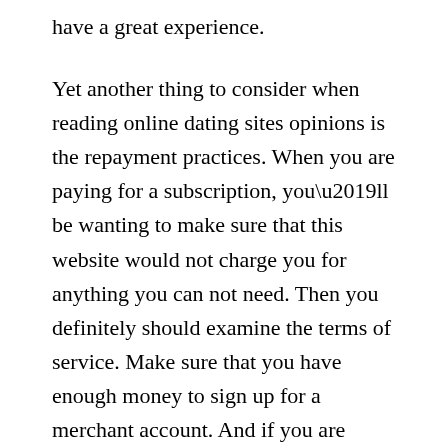have a great experience.
Yet another thing to consider when reading online dating sites opinions is the repayment practices. When you are paying for a subscription, you’ll be wanting to make sure that this website would not charge you for anything you can not need. Then you definitely should examine the terms of service. Make sure that you have enough money to sign up for a merchant account. And if you are contemplating a more cost-effective option, you can save money by using a credit card to pay the subscription fee.
You have to read the feedback on each site. If you’re searching for a long-term relationship, you might like to sign up with a site which has a higher effectiveness